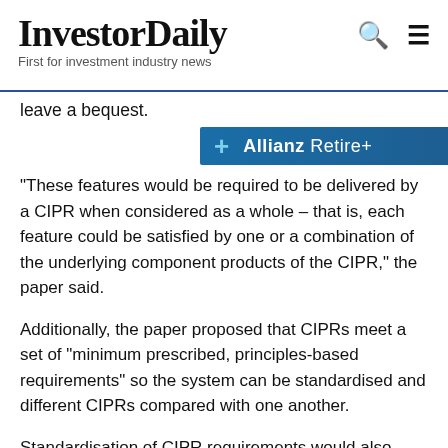InvestorDaily — First for investment industry news
leave a bequest.
[Figure (other): Allianz Retire+ advertisement banner with teal plus icon and white text on dark blue gradient background]
“These features would be required to be delivered by a CIPR when considered as a whole – that is, each feature could be satisfied by one or a combination of the underlying component products of the CIPR,” the paper said.
Additionally, the paper proposed that CIPRs meet a set of “minimum prescribed, principles-based requirements” so the system can be standardised and different CIPRs compared with one another.
Standardisation of CIPR requirements would also simplify the framework of the system for individuals and “ensure that the ‘CIPR’ label represents an assurance of certain minimum or common features”.
The consultation paper describes CIPRs as a “soft-default”